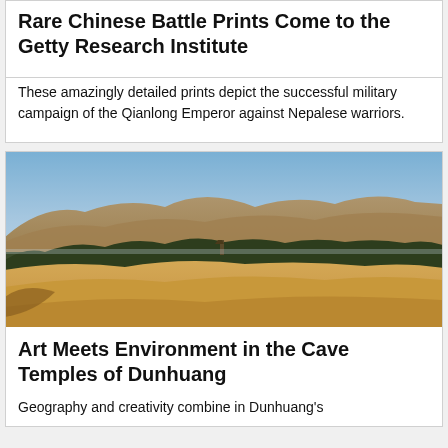Rare Chinese Battle Prints Come to the Getty Research Institute
These amazingly detailed prints depict the successful military campaign of the Qianlong Emperor against Nepalese warriors.
[Figure (photo): Aerial or wide landscape photograph of the Dunhuang desert area, showing sandy dunes and hills in the background with a strip of green trees and vegetation in the middle, and arid desert terrain in the foreground, under a clear blue sky.]
Art Meets Environment in the Cave Temples of Dunhuang
Geography and creativity combine in Dunhuang's